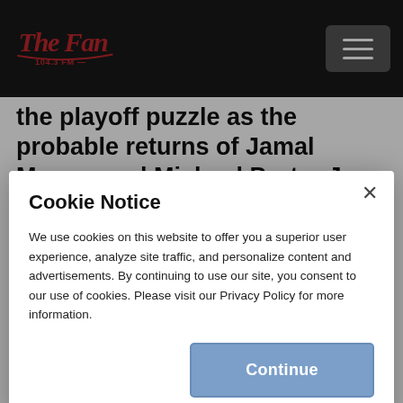The Fan 104.3 FM
the playoff puzzle as the probable returns of Jamal Murray and Michael Porter Jr.
If you believe both Murray and Porter are
Cookie Notice
We use cookies on this website to offer you a superior user experience, analyze site traffic, and personalize content and advertisements. By continuing to use our site, you consent to our use of cookies. Please visit our Privacy Policy for more information.
Continue
player by making any expectations public.